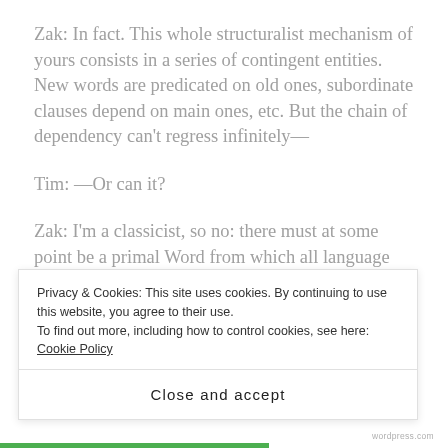Zak: In fact. This whole structuralist mechanism of yours consists in a series of contingent entities. New words are predicated on old ones, subordinate clauses depend on main ones, etc. But the chain of dependency can't regress infinitely—
Tim: —Or can it?
Zak: I'm a classicist, so no: there must at some point be a primal Word from which all language derives its meaning. A Word which means nothing other than itself. Fate, then, is not actually fate at all. The whole universe is really one massive Text, written by the authorial hand
Privacy & Cookies: This site uses cookies. By continuing to use this website, you agree to their use.
To find out more, including how to control cookies, see here: Cookie Policy
Close and accept